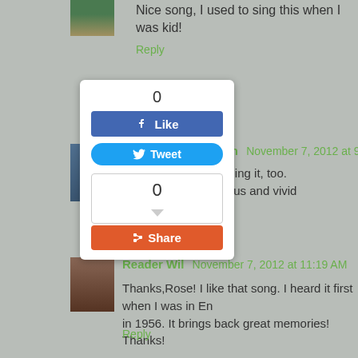Nice song, I used to sing this when I was kid!
Reply
[Figure (screenshot): Social media sharing widget popup with Facebook Like button showing count 0, Twitter Tweet button, a share count box showing 0, and a Share button]
Jennifer Richardson November 7, 2012 at 9:12 AM
...mber my mother singing it, too. ...back so many delicious and vivid memories...thank yo... ...fer
Reader Wil November 7, 2012 at 11:19 AM
Thanks,Rose! I like that song. I heard it first when I was in En... in 1956. It brings back great memories! Thanks!
Reply
Pride In Photos Beauty November 7, 2012 at 11:57 AM
Aaahh....the dreaming of what might be. I was singing the so... what is the best of all? When your children fulfill their dreams... Laurie